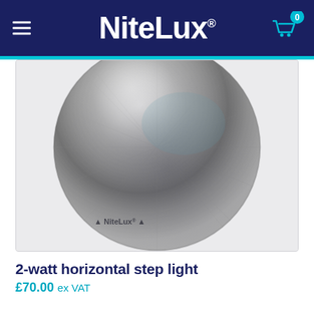NiteLux®
[Figure (photo): Top-down view of a circular brushed stainless steel NiteLux step light fitting, showing radial brushed metal finish with NiteLux® logo embossed at the bottom]
2-watt horizontal step light
£70.00 ex VAT